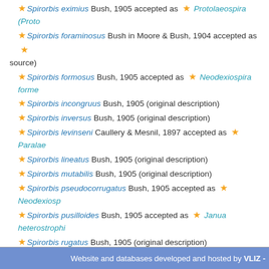★ Spirorbis eximius Bush, 1905 accepted as ★ Protolaeospira (Proto...
★ Spirorbis foraminosus Bush in Moore & Bush, 1904 accepted as ★ ... source)
★ Spirorbis formosus Bush, 1905 accepted as ★ Neodexiospira forme...
★ Spirorbis incongruus Bush, 1905 (original description)
★ Spirorbis inversus Bush, 1905 (original description)
★ Spirorbis levinseni Caullery & Mesnil, 1897 accepted as ★ Paralae...
★ Spirorbis lineatus Bush, 1905 (original description)
★ Spirorbis mutabilis Bush, 1905 (original description)
★ Spirorbis pseudocorrugatus Bush, 1905 accepted as ★ Neodexiosp...
★ Spirorbis pusilloides Bush, 1905 accepted as ★ Janua heterostrophi...
★ Spirorbis rugatus Bush, 1905 (original description)
★ Spirorbis semidentatus Bush, 1905 accepted as ★ Janua (Dexiosp... (Spirorbides) vitrea (Fabricius, 1780) (original description)
★ Spirorbis similis Bush, 1905 accepted as ★ Bushiella (Jugaria) sim...
★ Spirorbis tridentatus Bush, 1905 (original description)
★ Spirorbis tubaeformis Bush, 1905 accepted as ★ Laeospira boreali... (Linnaeus, 1758) (original description)
★ Spirorbis variabilis Bush, 1905 (original description)
★ Vermiliopsis multivaricosa (Mörch, 1863) accepted as ★ Vermiliops...
Website and databases developed and hosted by VLIZ -